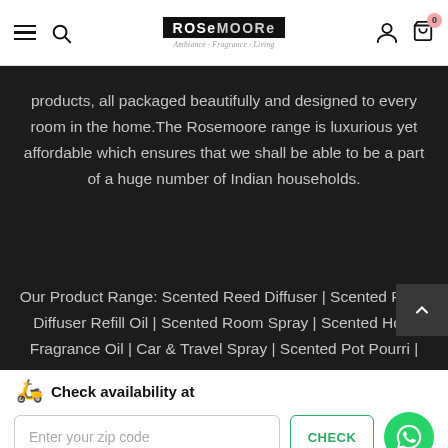ROSeMOORe — Ambiance • Fragrance • Living
products, all packaged beautifully and designed to every room in the home.The Rosemoore range is luxurious yet affordable which ensures that we shall be able to be a part of a huge number of Indian households.
Our Product Range: Scented Reed Diffuser | Scented Reed Diffuser Refill Oil | Scented Room Spray | Scented Home Fragrance Oil | Car & Travel Spray | Scented Pot Pourri |
🛵 Check availability at
Enter your zip code
CHECK
ADD TO CART